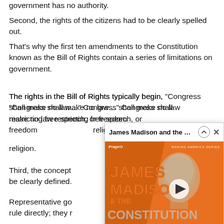government has no authority.
Second, the rights of the citizens had to be clearly spelled out.
That’s why the first ten amendments to the Constitution known as the Bill of Rights contain a series of limitations on government.
The rights in the Bill of Rights typically begin, “Congress shall make no law…” Congress shall make no law restricting free speech, or freedom [of press, assembly, or] religion.
[Figure (screenshot): Video popup for 'James Madison and the Co...' (PragerU Making America Series) with orange thumbnail showing James Madison illustration and play button]
Third, the concept [of federalism had to] be clearly defined.
Representative go[vernment means citizens don't] rule directly; they r[ule through representatives]